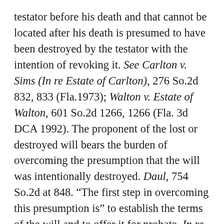testator before his death and that cannot be located after his death is presumed to have been destroyed by the testator with the intention of revoking it. See Carlton v. Sims (In re Estate of Carlton), 276 So.2d 832, 833 (Fla.1973); Walton v. Estate of Walton, 601 So.2d 1266, 1266 (Fla. 3d DCA 1992). The proponent of the lost or destroyed will bears the burden of overcoming the presumption that the will was intentionally destroyed. Daul, 754 So.2d at 848. “The first step in overcoming this presumption is” to establish the terms of the will and to offer it for probate. In re Estate of Parker, 382 So.2d 652, 653 (Fla.1980). Section 733.207, Florida Statutes (2005), outlines the procedure for establishing a lost or destroyed will: